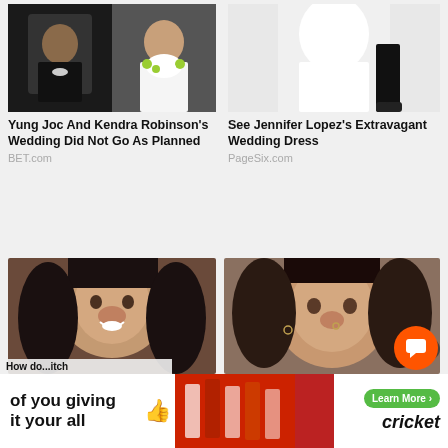[Figure (photo): Split photo: man in tuxedo on left and bride holding bouquet of white flowers on right]
Yung Joc And Kendra Robinson's Wedding Did Not Go As Planned
BET.com
[Figure (photo): Wedding photo showing white wedding dress and groom's legs on snowy background]
See Jennifer Lopez's Extravagant Wedding Dress
PageSix.com
[Figure (photo): Close-up portrait of smiling woman with dark hair]
[Figure (photo): Close-up selfie portrait of woman with nose ring]
[Figure (photo): Advertisement banner for Cricket wireless featuring marching band image and text 'of you giving it your all']
How do...itch